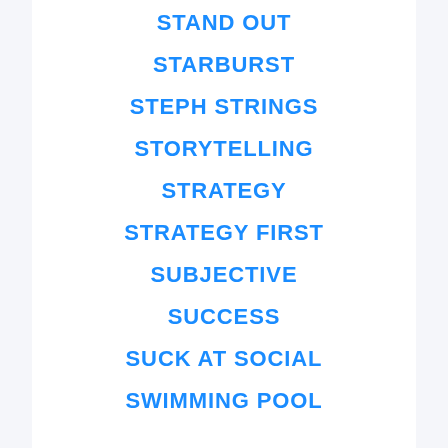STAND OUT
STARBURST
STEPH STRINGS
STORYTELLING
STRATEGY
STRATEGY FIRST
SUBJECTIVE
SUCCESS
SUCK AT SOCIAL
SWIMMING POOL